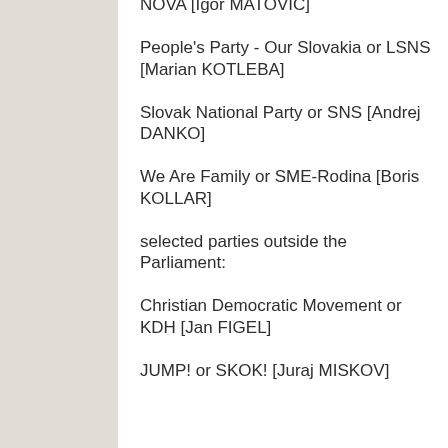NOVA [Igor MATOVIC]
People's Party - Our Slovakia or LSNS [Marian KOTLEBA]
Slovak National Party or SNS [Andrej DANKO]
We Are Family or SME-Rodina [Boris KOLLAR]
selected parties outside the Parliament:
Christian Democratic Movement or KDH [Jan FIGEL]
JUMP! or SKOK! [Juraj MISKOV]